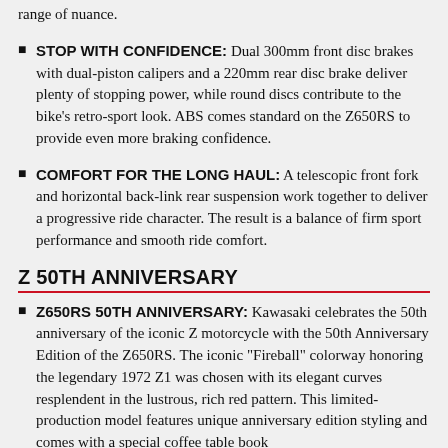STOP WITH CONFIDENCE: Dual 300mm front disc brakes with dual-piston calipers and a 220mm rear disc brake deliver plenty of stopping power, while round discs contribute to the bike's retro-sport look. ABS comes standard on the Z650RS to provide even more braking confidence.
COMFORT FOR THE LONG HAUL: A telescopic front fork and horizontal back-link rear suspension work together to deliver a progressive ride character. The result is a balance of firm sport performance and smooth ride comfort.
Z 50TH ANNIVERSARY
Z650RS 50TH ANNIVERSARY: Kawasaki celebrates the 50th anniversary of the iconic Z motorcycle with the 50th Anniversary Edition of the Z650RS. The iconic "Fireball" colorway honoring the legendary 1972 Z1 was chosen with its elegant curves resplendent in the lustrous, rich red pattern. This limited-production model features unique anniversary edition styling and comes with a special coffee table book